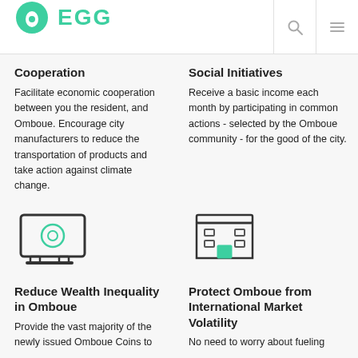EGG
Cooperation
Facilitate economic cooperation between you the resident, and Omboue. Encourage city manufacturers to reduce the transportation of products and take action against climate change.
Social Initiatives
Receive a basic income each month by participating in common actions - selected by the Omboue community - for the good of the city.
[Figure (illustration): Icon of a monitor/screen with a circle (coin) inside, outlined in dark with teal accent]
Reduce Wealth Inequality in Omboue
Provide the vast majority of the newly issued Omboue Coins to
[Figure (illustration): Icon of a building/store front with teal door accent, outlined in dark]
Protect Omboue from International Market Volatility
No need to worry about fueling